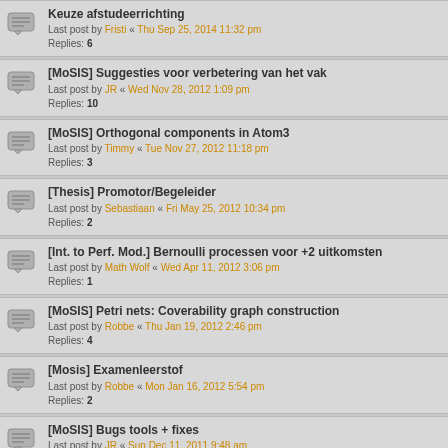Keuze afstudeerrichting
Last post by Fristi « Thu Sep 25, 2014 11:32 pm
Replies: 6
[MoSIS] Suggesties voor verbetering van het vak
Last post by JR « Wed Nov 28, 2012 1:09 pm
Replies: 10
[MoSIS] Orthogonal components in Atom3
Last post by Timmy « Tue Nov 27, 2012 11:18 pm
Replies: 3
[Thesis] Promotor/Begeleider
Last post by Sebastiaan « Fri May 25, 2012 10:34 pm
Replies: 2
[Int. to Perf. Mod.] Bernoulli processen voor +2 uitkomsten
Last post by Math Wolf « Wed Apr 11, 2012 3:06 pm
Replies: 1
[MoSIS] Petri nets: Coverability graph construction
Last post by Robbe « Thu Jan 19, 2012 2:46 pm
Replies: 4
[Mosis] Examenleerstof
Last post by Robbe « Mon Jan 16, 2012 5:54 pm
Replies: 2
[MoSIS] Bugs tools + fixes
Last post by JR « Sun Dec 11, 2011 9:48 am
Replies: 8
[MoSIS] Opdracht
Last post by Fristi « Fri Nov 25, 2011 7:46 pm
Replies: 8
Vakken in Leuven
Last post by Robbe « Mon Jan 31, 2011 12:59 am